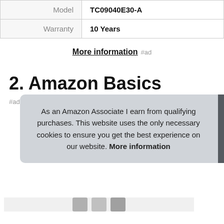| Model | TC09040E30-A |
| Warranty | 10 Years |
More information #ad
2. Amazon Basics
#ad
As an Amazon Associate I earn from qualifying purchases. This website uses the only necessary cookies to ensure you get the best experience on our website. More information